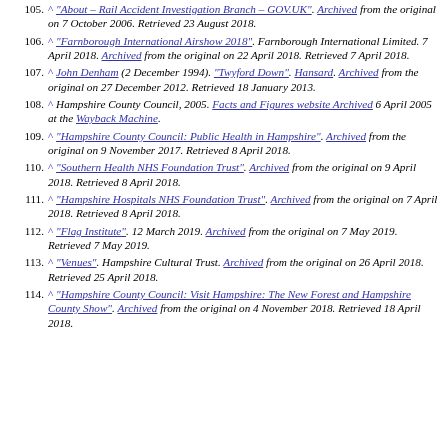105. ^ "About – Rail Accident Investigation Branch – GOV.UK". Archived from the original on 7 October 2006. Retrieved 23 August 2018.
106. ^ "Farnborough International Airshow 2018". Farnborough International Limited. 7 April 2018. Archived from the original on 22 April 2018. Retrieved 7 April 2018.
107. ^ John Denham (2 December 1994). "Twyford Down". Hansard. Archived from the original on 27 December 2012. Retrieved 18 January 2013.
108. ^ Hampshire County Council, 2005. Facts and Figures website Archived 6 April 2005 at the Wayback Machine.
109. ^ "Hampshire County Council: Public Health in Hampshire". Archived from the original on 9 November 2017. Retrieved 8 April 2018.
110. ^ "Southern Health NHS Foundation Trust". Archived from the original on 9 April 2018. Retrieved 8 April 2018.
111. ^ "Hampshire Hospitals NHS Foundation Trust". Archived from the original on 7 April 2018. Retrieved 8 April 2018.
112. ^ "Flag Institute". 12 March 2019. Archived from the original on 7 May 2019. Retrieved 7 May 2019.
113. ^ "Venues". Hampshire Cultural Trust. Archived from the original on 26 April 2018. Retrieved 25 April 2018.
114. ^ "Hampshire County Council: Visit Hampshire: The New Forest and Hampshire County Show". Archived from the original on 4 November 2018. Retrieved 18 April 2018.